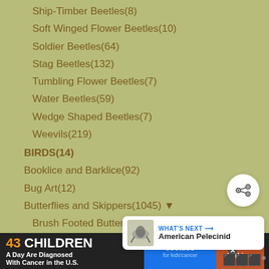Ship-Timber Beetles(8)
Soft Winged Flower Beetles(10)
Soldier Beetles(64)
Stag Beetles(132)
Tumbling Flower Beetles(7)
Water Beetles(59)
Wedge Shaped Beetles(7)
Weevils(219)
BIRDS(14)
Booklice and Barklice(92)
Bug Art(12)
Butterflies and Skippers(1045) ▼
Brush Footed Butterflies(388)
Gossamer Wings(73)
Metalmarks(10)
Skippers(75)
swallowtails(182)
Whites and Sulfurs(60)